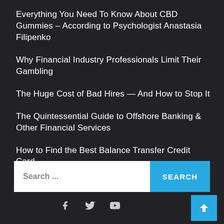Everything You Need To Know About CBD Gummies – According to Psychologist Anastasia Filipenko
Why Financial Industry Professionals Limit Their Gambling
The Huge Cost of Bad Hires — And How to Stop It
The Quintessential Guide to Offshore Banking & Other Financial Services
How to Find the Best Balance Transfer Credit Card
Search ...
SEARCH